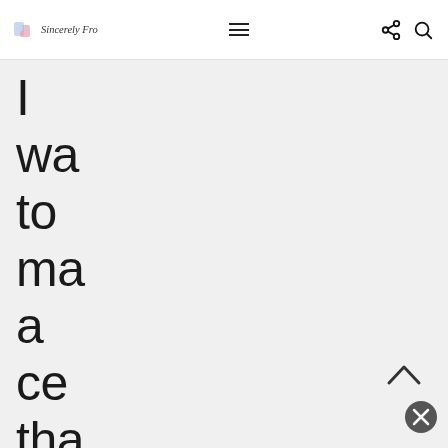Sincerely Fro — navigation bar with logo, hamburger menu, share icon, and search icon
I wa to ma a ce tha ha pre cle inc an no of the stu